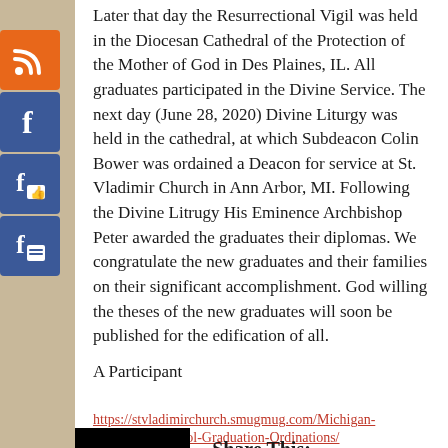Later that day the Resurrectional Vigil was held in the Diocesan Cathedral of the Protection of the Mother of God in Des Plaines, IL. All graduates participated in the Divine Service. The next day (June 28, 2020) Divine Liturgy was held in the cathedral, at which Subdeacon Colin Bower was ordained a Deacon for service at St. Vladimir Church in Ann Arbor, MI. Following the Divine Litrugy His Eminence Archbishop Peter awarded the graduates their diplomas. We congratulate the new graduates and their families on their significant accomplishment. God willing the theses of the new graduates will soon be published for the edification of all.
A Participant
https://stvladimirchurch.smugmug.com/Michigan-ry/Pastoral-School-Graduation-Ordinations/
Share This: